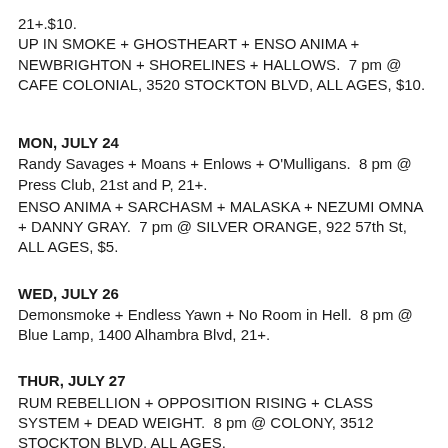21+.$10.
UP IN SMOKE + GHOSTHEART + ENSO ANIMA + NEWBRIGHTON + SHORELINES + HALLOWS.  7 pm @ CAFE COLONIAL, 3520 STOCKTON BLVD, ALL AGES, $10.
MON, JULY 24
Randy Savages + Moans + Enlows + O'Mulligans.  8 pm @ Press Club, 21st and P, 21+.
ENSO ANIMA + SARCHASM + MALASKA + NEZUMI OMNA + DANNY GRAY.  7 pm @ SILVER ORANGE, 922 57th St, ALL AGES, $5.
WED, JULY 26
Demonsmoke + Endless Yawn + No Room in Hell.  8 pm @ Blue Lamp, 1400 Alhambra Blvd, 21+.
THUR, JULY 27
RUM REBELLION + OPPOSITION RISING + CLASS SYSTEM + DEAD WEIGHT.  8 pm @ COLONY, 3512 STOCKTON BLVD, ALL AGES,